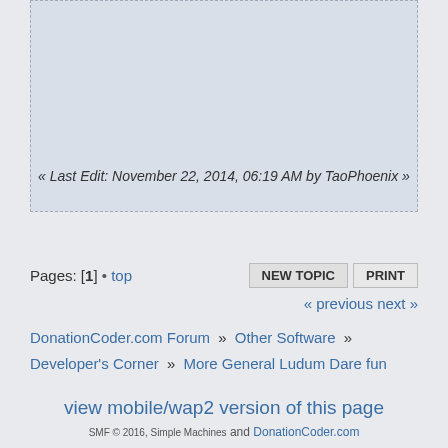[Figure (other): Light blue-gray shaded post/message box area at top of page]
« Last Edit: November 22, 2014, 06:19 AM by TaoPhoenix »
Pages: [1] • top  NEW TOPIC  PRINT
« previous next »
DonationCoder.com Forum » Other Software » Developer's Corner » More General Ludum Dare fun
view mobile/wap2 version of this page
SMF © 2016, Simple Machines and DonationCoder.com
RSS
Page created in 0.024 seconds with 24 queries.